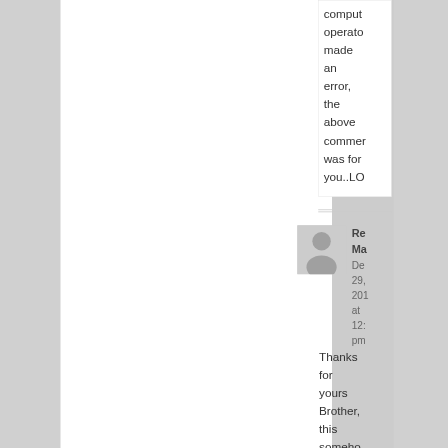computer operator made an error, the above comment was for you..LO
[Figure (illustration): Default user avatar placeholder - gray silhouette of a person on gray background]
Re Ma
Dec 29, 201 at 12: pm
Thanks for yours Brother, this someho